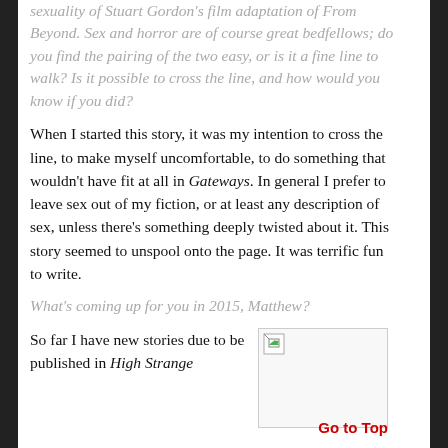sexuality of Stuart Gordon's film adaptation of From Beyond. Sex and horror are of course great bedfellows; do you find the pairing of the two easy, or is it a fine line to walk? Is it possible to cross the line, and how would you know if you did?
When I started this story, it was my intention to cross the line, to make myself uncomfortable, to do something that wouldn't have fit at all in Gateways. In general I prefer to leave sex out of my fiction, or at least any description of sex, unless there's something deeply twisted about it. This story seemed to unspool onto the page. It was terrific fun to write.
What's coming up for you in 2015, Matthew?
So far I have new stories due to be published in High Strange
[Figure (other): A placeholder broken image icon in a bordered box]
Go to Top